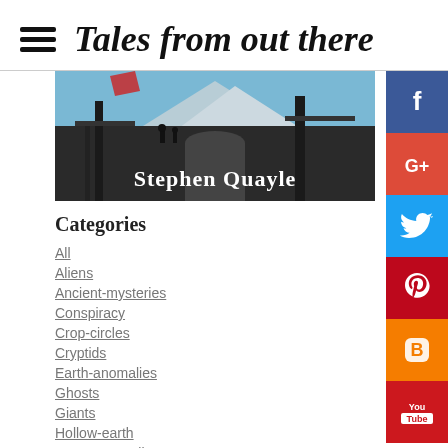Tales from out there
[Figure (photo): Stephen Quayle banner image showing industrial/mountain scene with text 'Stephen Quayle']
Categories
All
Aliens
Ancient-mysteries
Conspiracy
Crop-circles
Cryptids
Earth-anomalies
Ghosts
Giants
Hollow-earth
Lunar-anomalies